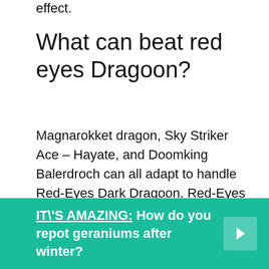effect.
What can beat red eyes Dragoon?
Magnarokket dragon, Sky Striker Ace – Hayate, and Doomking Balerdroch can all adapt to handle Red-Eyes Dark Dragoon. Red-Eyes Dark Dragoon negate effect is definitely powerful, but with Yacine's guidance, you can turn Red-Eyes Dark Dragoon into just another card in your opponent's graveyard.
IT\'S AMAZING:  How do you repot geraniums after winter?